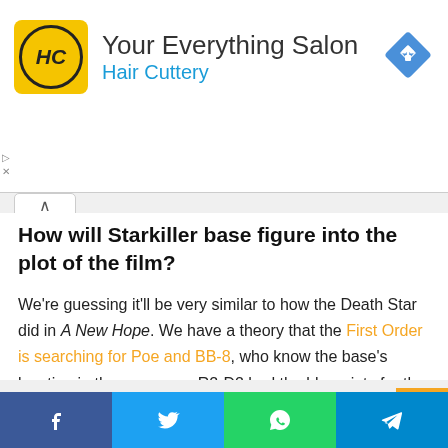[Figure (infographic): Hair Cuttery advertisement banner with yellow HC logo, text 'Your Everything Salon' and 'Hair Cuttery', and a blue diamond navigation icon on the right.]
How will Starkiller base figure into the plot of the film?
We’re guessing it’ll be very similar to how the Death Star did in A New Hope. We have a theory that the First Order is searching for Poe and BB-8, who know the base’s location in the same way R2-D2 had the blueprints for the Death Star.
One Comment
[Figure (infographic): Social sharing bar with four buttons: Facebook (blue), Twitter (light blue), WhatsApp (green), Telegram (dark blue).]